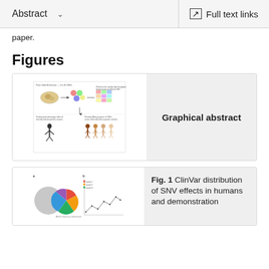Abstract   Full text links
paper.
Figures
[Figure (illustration): Graphical abstract showing experimental workflow with cell figures, arrows, colored boxes, and human silhouettes illustrating genetic variant analysis pipeline.]
Graphical abstract
[Figure (other): Fig. 1 thumbnail showing pie charts and a line graph related to ClinVar distribution of SNV effects in humans.]
Fig. 1 ClinVar distribution of SNV effects in humans and demonstration